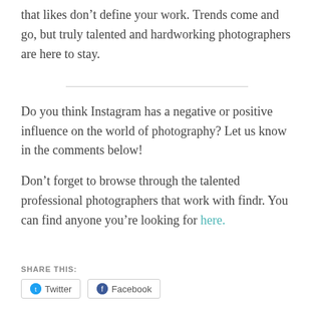that likes don't define your work. Trends come and go, but truly talented and hardworking photographers are here to stay.
Do you think Instagram has a negative or positive influence on the world of photography? Let us know in the comments below!
Don't forget to browse through the talented professional photographers that work with findr. You can find anyone you're looking for here.
SHARE THIS: